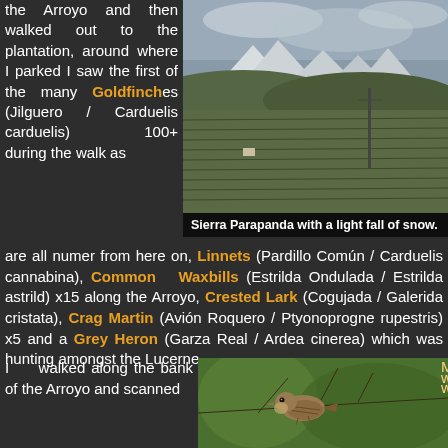the Arroyo and then walked out to the plantation, around where I parked I saw the first of the many Goldfinches (Jilguero / Carduelis carduelis) 100+ during the walk as are all numer from here on, Linnets (Pardillo Común / Carduelis cannabina), Common Waxbills (Estrilda Ondulada / Estrilda astrild) x15 along the Arroyo, Crested Lark (Cogujada / Galerida cristata), Crag Martin (Avión Roquero / Ptyonoprogne rupestris) x5 and a Grey Heron (Garza Real / Ardea cinerea) which was hunting amongst the Lucerne.
[Figure (photo): Landscape photo of Sierra Parapanda with snow-capped mountains in background, olive grove plantation in foreground, cloudy sky]
Sierra Parapanda with a light fall of snow.
I walked along the bank of the Arroyo and scanned
[Figure (photo): Close-up photo of a small brown bird perched on bare branches, likely a warbler or similar species. Watermarks: Mick Richardson, www.lojawildlife.com, www.granadawildlife.com]